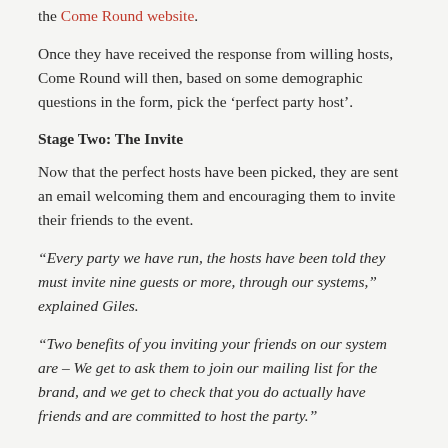the Come Round website.
Once they have received the response from willing hosts, Come Round will then, based on some demographic questions in the form, pick the ‘perfect party host’.
Stage Two: The Invite
Now that the perfect hosts have been picked, they are sent an email welcoming them and encouraging them to invite their friends to the event.
“Every party we have run, the hosts have been told they must invite nine guests or more, through our systems,” explained Giles.
“Two benefits of you inviting your friends on our system are – We get to ask them to join our mailing list for the brand, and we get to check that you do actually have friends and are committed to host the party.”